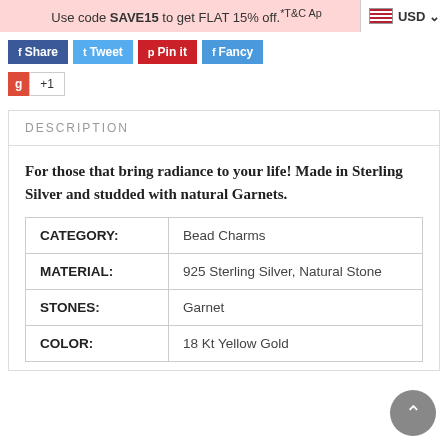Use code SAVE15 to get FLAT 15% off.*T&C Ap  USD
[Figure (screenshot): Social share buttons: Share (Facebook), Tweet (Twitter), Pin It (Pinterest), Fancy, and Google +1 button]
DESCRIPTION
For those that bring radiance to your life! Made in Sterling Silver and studded with natural Garnets.
|  |  |
| --- | --- |
| CATEGORY: | Bead Charms |
| MATERIAL: | 925 Sterling Silver, Natural Stone |
| STONES: | Garnet |
| COLOR: | 18 Kt Yellow Gold |